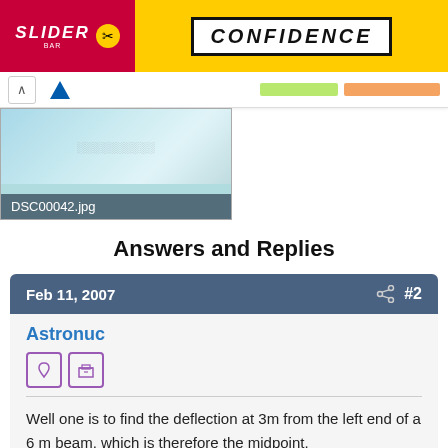[Figure (screenshot): Top banner with Slider bar logo and CONFIDENCE text in bold italic, with yellow background on right]
[Figure (screenshot): Navigation bar with back arrow, Daikin triangle logo, green tab, and orange tab]
[Figure (photo): Thumbnail image labeled DSC00042.jpg showing a light blue room interior]
Answers and Replies
Feb 11, 2007  #2
Astronuc
Well one is to find the deflection at 3m from the left end of a 6 m beam, which is therefore the midpoint.